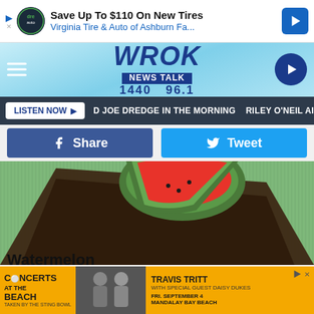[Figure (screenshot): Advertisement banner: Save Up To $110 On New Tires - Virginia Tire & Auto of Ashburn Fa...]
[Figure (logo): WROK News Talk 1440 96.1 radio station logo with navigation bar]
[Figure (screenshot): Listen Now button with D JOE DREDGE IN THE MORNING and RILEY O'NEIL AI scrolling text]
[Figure (screenshot): Facebook Share and Twitter Tweet social sharing buttons]
[Figure (photo): Photo of watermelon slices on a dark tray on a striped mat]
camelot1671
Watermelon
Some moderation makes this item more safe than others.
However, be aware that the seeds in watermelon can cause
[Figure (screenshot): Advertisement: Concerts at the Beach featuring Travis Tritt with Special Guest Daisy Dukes, September 4, Mandalay Bay Beach]